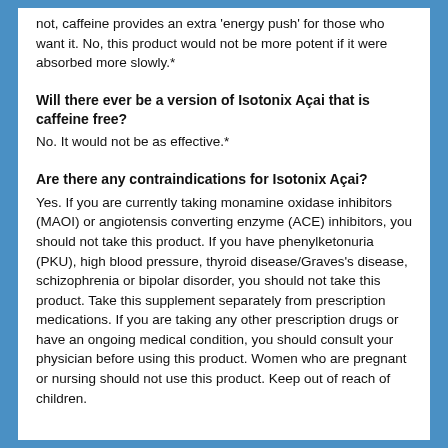not, caffeine provides an extra 'energy push' for those who want it. No, this product would not be more potent if it were absorbed more slowly.*
Will there ever be a version of Isotonix Açai that is caffeine free?
No. It would not be as effective.*
Are there any contraindications for Isotonix Açai?
Yes. If you are currently taking monamine oxidase inhibitors (MAOI) or angiotensis converting enzyme (ACE) inhibitors, you should not take this product. If you have phenylketonuria (PKU), high blood pressure, thyroid disease/Graves's disease, schizophrenia or bipolar disorder, you should not take this product. Take this supplement separately from prescription medications. If you are taking any other prescription drugs or have an ongoing medical condition, you should consult your physician before using this product. Women who are pregnant or nursing should not use this product. Keep out of reach of children.